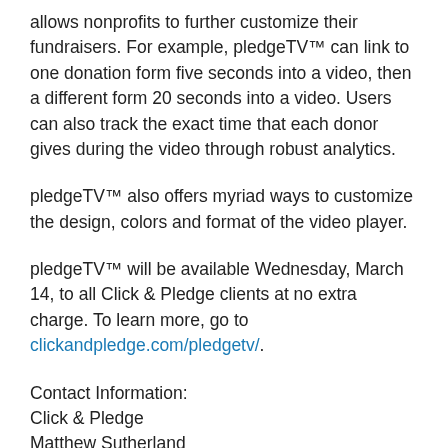allows nonprofits to further customize their fundraisers. For example, pledgeTV™ can link to one donation form five seconds into a video, then a different form 20 seconds into a video. Users can also track the exact time that each donor gives during the video through robust analytics.
pledgeTV™ also offers myriad ways to customize the design, colors and format of the video player.
pledgeTV™ will be available Wednesday, March 14, to all Click & Pledge clients at no extra charge. To learn more, go to clickandpledge.com/pledgetv/.
Contact Information:
Click & Pledge
Matthew Sutherland
540-250-7930